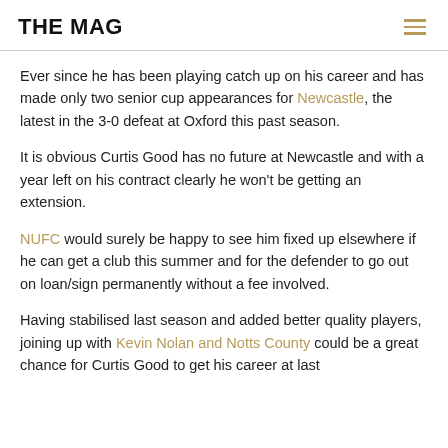THE MAG
Ever since he has been playing catch up on his career and has made only two senior cup appearances for Newcastle, the latest in the 3-0 defeat at Oxford this past season.
It is obvious Curtis Good has no future at Newcastle and with a year left on his contract clearly he won't be getting an extension.
NUFC would surely be happy to see him fixed up elsewhere if he can get a club this summer and for the defender to go out on loan/sign permanently without a fee involved.
Having stabilised last season and added better quality players, joining up with Kevin Nolan and Notts County could be a great chance for Curtis Good to get his career at last...